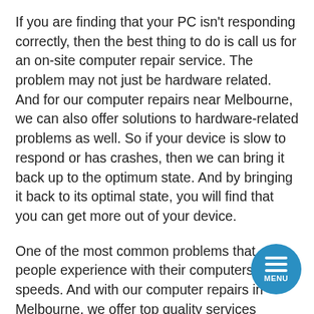If you are finding that your PC isn't responding correctly, then the best thing to do is call us for an on-site computer repair service. The problem may not just be hardware related. And for our computer repairs near Melbourne, we can also offer solutions to hardware-related problems as well. So if your device is slow to respond or has crashes, then we can bring it back up to the optimum state. And by bringing it back to its optimal state, you will find that you can get more out of your device.
One of the most common problems that people experience with their computers is slow speeds. And with our computer repairs in Melbourne, we offer top quality services throughout Melbourne to ensure that all of your computer related issues can be fixed effectively. As an example, one common issue people have is slow speeds. And by investing in our
[Figure (other): Circular blue menu button with three horizontal white lines and MENU label]